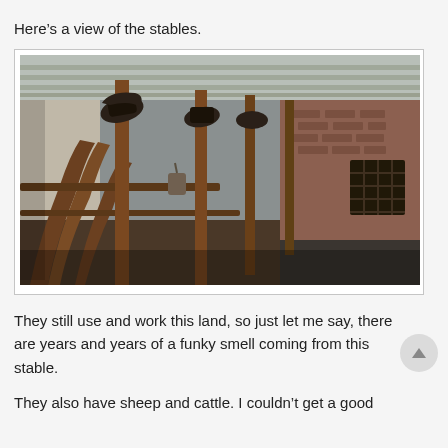Here’s a view of the stables.
[Figure (photo): Interior view of a horse stable showing wooden stalls with curved wooden dividers, saddles hanging from beams on vertical wooden posts, concrete ceiling, brick walls visible in the background, and a dirt/concrete floor.]
They still use and work this land, so just let me say, there are years and years of a funky smell coming from this stable.
They also have sheep and cattle. I couldn’t get a good